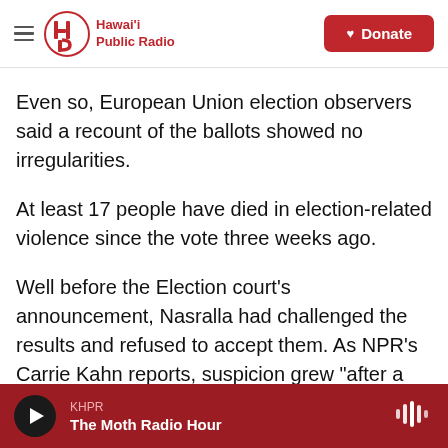Hawai'i Public Radio — Donate
Even so, European Union election observers said a recount of the ballots showed no irregularities.
At least 17 people have died in election-related violence since the vote three weeks ago.
Well before the Election court's announcement, Nasralla had challenged the results and refused to accept them. As NPR's Carrie Kahn reports, suspicion grew "after a computer glitch knocked out vote returns for 36 hours." In a video posted to Facebook, Nasralla charged fraud "before, during
KHPR — The Moth Radio Hour